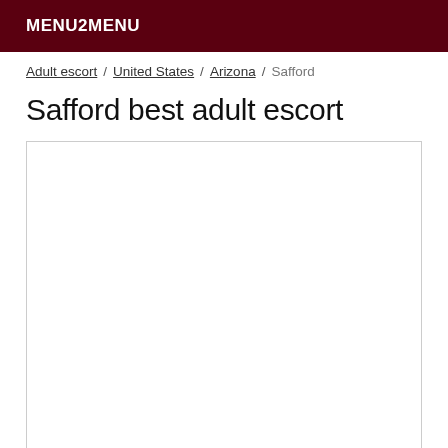MENU2MENU
Adult escort / United States / Arizona / Safford
Safford best adult escort
[Figure (other): Empty white content box with border]